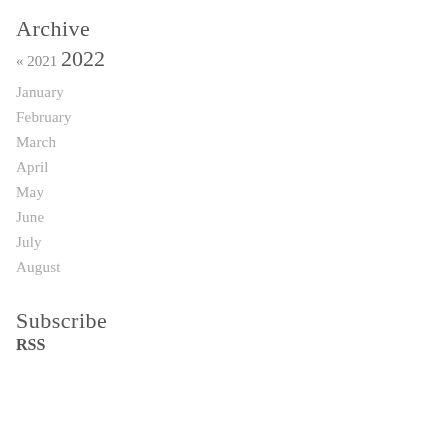Archive
« 2021 2022
January
February
March
April
May
June
July
August
Subscribe
RSS